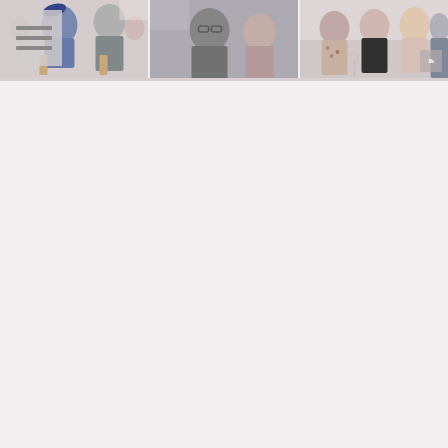[Figure (photo): Three horizontally arranged wedding reception photos showing guests seated and socializing. Left photo shows a woman in blue floral dress and a man in grey suit. Center photo shows a man in grey jacket and a woman smiling. Right photo shows two women and a man at what appears to be a reception table. A menu/hamburger icon overlay appears in the top-left corner of the left photo. A small watermark logo appears in the bottom-right of the right photo.]